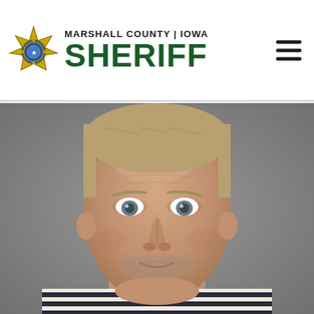MARSHALL COUNTY | IOWA SHERIFF
[Figure (photo): Mugshot photograph of a middle-aged white male with short blond/gray hair, blue-gray eyes, and stubble beard, wearing a white and dark-blue striped t-shirt, photographed against a gray background for the Marshall County Iowa Sheriff's office.]